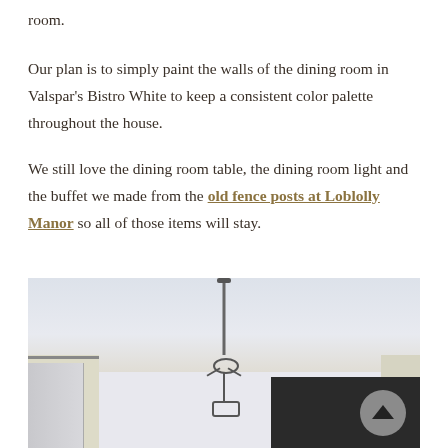room.
Our plan is to simply paint the walls of the dining room in Valspar's Bistro White to keep a consistent color palette throughout the house.
We still love the dining room table, the dining room light and the buffet we made from the old fence posts at Loblolly Manor so all of those items will stay.
[Figure (photo): Interior photo of a dining room showing a ceiling, a hanging chandelier with ornate ironwork, a curtain rod on the left, and a dark buffet/frame on the right side. A scroll-to-top button is overlaid in the bottom-right corner.]